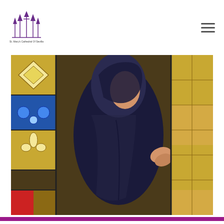[Figure (logo): St. Mary's Cathedral of Seville logo with stylized cathedral spires in purple/dark ink with small text below]
[Figure (photo): Close-up stained glass window depicting a robed figure (nun or religious woman) in dark blue/black garments with colorful geometric stained glass border panels on the left side]
[Figure (photo): Bottom portion of another stained glass window partially visible, showing colorful panels in red, pink, blue and geometric shapes]